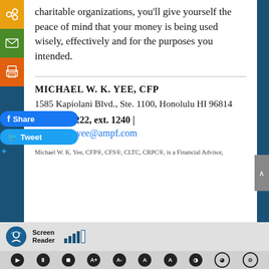charitable organizations, you'll give yourself the peace of mind that your money is being used wisely, effectively and for the purposes you intended.
MICHAEL W. K. YEE, CFP
1585 Kapiolani Blvd., Ste. 1100, Honolulu HI 96814
808-952-1222, ext. 1240 |
michael.w.yee@ampf.com
Michael W. K. Yee, CFP®, CFS®, CLTC, CRPC®, is a Financial Advisor,